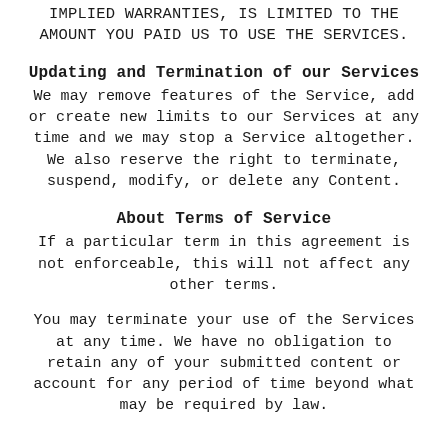IMPLIED WARRANTIES, IS LIMITED TO THE AMOUNT YOU PAID US TO USE THE SERVICES.
Updating and Termination of our Services
We may remove features of the Service, add or create new limits to our Services at any time and we may stop a Service altogether. We also reserve the right to terminate, suspend, modify, or delete any Content.
About Terms of Service
If a particular term in this agreement is not enforceable, this will not affect any other terms.
You may terminate your use of the Services at any time. We have no obligation to retain any of your submitted content or account for any period of time beyond what may be required by law.